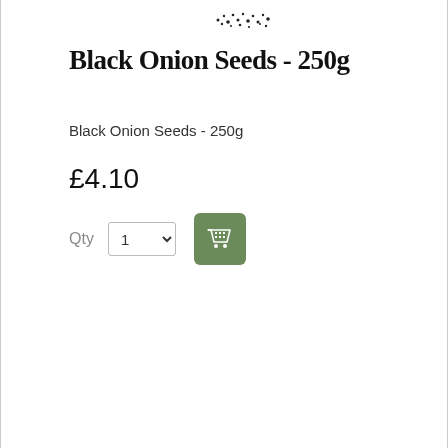[Figure (other): Partial logo/image at top of product page, showing dot-pattern text or brand logo, cropped]
Black Onion Seeds - 250g
Black Onion Seeds - 250g
£4.10
Qty 1 [dropdown] [add to cart button]